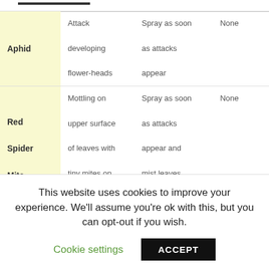| Pest | Symptoms | Control | Notes |
| --- | --- | --- | --- |
| Aphid | Attack developing flower-heads | Spray as soon as attacks appear | None |
| Red Spider Mite | Mottling on upper surface of leaves with tiny mites on the underside | Spray as soon as attacks appear and mist leaves regularly with | None |
This website uses cookies to improve your experience. We'll assume you're ok with this, but you can opt-out if you wish.
Cookie settings  ACCEPT